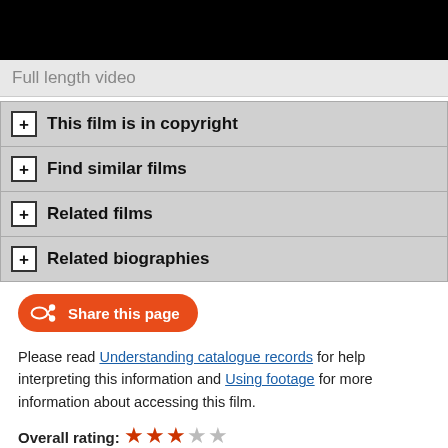[Figure (photo): Black video thumbnail bar at top of page]
Full length video
+ This film is in copyright
+ Find similar films
+ Related films
+ Related biographies
Share this page
Please read Understanding catalogue records for help interpreting this information and Using footage for more information about accessing this film.
Overall rating: ★★★☆☆
Title: HUGH MacDIARMID: No Fellow Travellers
Reference number: 2688
Date: 1972
Director: d. Oscar Marzaroli